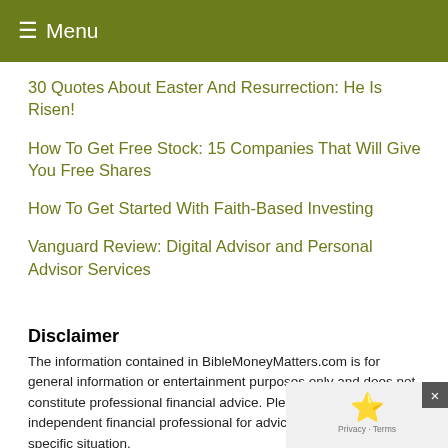≡ Menu
30 Quotes About Easter And Resurrection: He Is Risen!
How To Get Free Stock: 15 Companies That Will Give You Free Shares
How To Get Started With Faith-Based Investing
Vanguard Review: Digital Advisor and Personal Advisor Services
Disclaimer
The information contained in BibleMoneyMatters.com is for general information or entertainment purposes only and does not constitute professional financial advice. Please contact an independent financial professional for advice regarding your specific situation.
In accordance with FTC guidelines, we state that we have a financial relationship with some of the companies mentioned in...